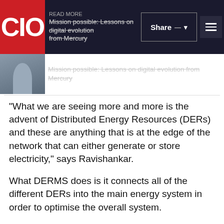CIO | Share | Menu
[Figure (photo): Person sitting, partial view in header area]
Mission possible: Lessons on digital evolution from Mercury
“What we are seeing more and more is the advent of Distributed Energy Resources (DERs) and these are anything that is at the edge of the network that can either generate or store electricity,” says Ravishankar.
What DERMS does is it connects all of the different DERs into the main energy system in order to optimise the overall system.
Every physical DER in the network has a digital twin, he explains.
So the grid, which is represented in the operational SCADA